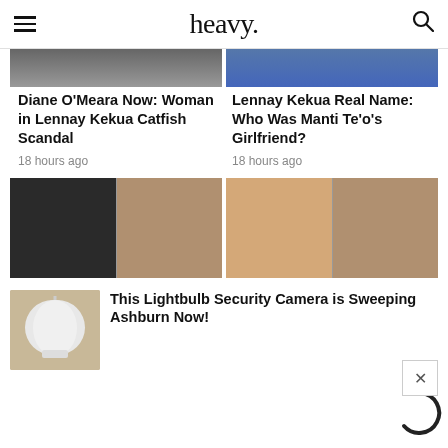heavy.
[Figure (photo): Partial top images, two columns — left showing blurred people photos, right showing similar blurred photos]
Diane O'Meara Now: Woman in Lennay Kekua Catfish Scandal
18 hours ago
Lennay Kekua Real Name: Who Was Manti Te'o's Girlfriend?
18 hours ago
[Figure (photo): Two side-by-side composite images: left shows a dark photo of a man and a woman hugging a child; right shows a blonde woman on TV set and a woman hugging a child.]
[Figure (photo): Hand holding a lightbulb-shaped security camera]
This Lightbulb Security Camera is Sweeping Ashburn Now!